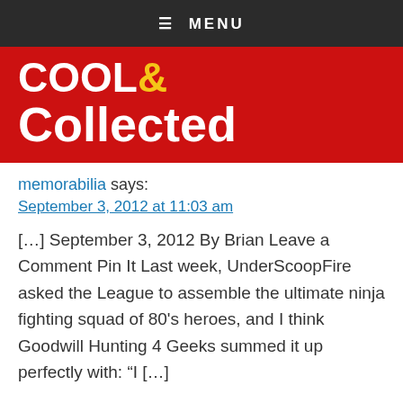≡ MENU
[Figure (logo): Cool & Collected blog logo — white bold text on red background]
memorabilia says:
September 3, 2012 at 11:03 am
[…] September 3, 2012 By Brian Leave a Comment Pin It Last week, UnderScoopFire asked the League to assemble the ultimate ninja fighting squad of 80's heroes, and I think Goodwill Hunting 4 Geeks summed it up perfectly with: "I […]